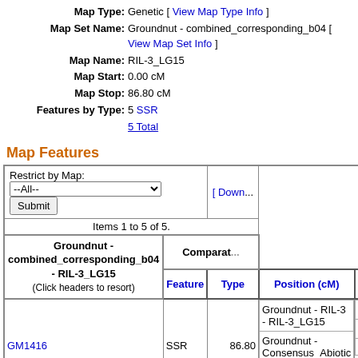Map Type: Genetic [ View Map Type Info ]
Map Set Name: Groundnut - combined_corresponding_b04 [ View Map Set Info ]
Map Name: RIL-3_LG15
Map Start: 0.00 cM
Map Stop: 86.80 cM
Features by Type: 5 SSR
5 Total
Map Features
| Groundnut - combined_corresponding_b04 - RIL-3_LG15 (Click headers to resort) | Comparat... | Feature | Type | Position (cM) | Map | Feature |
| --- | --- | --- | --- | --- | --- | --- |
| GM1416 | SSR | 86.80 | Groundnut - RIL-3 - RIL-3_LG15 | GM1416 |
|  |  |  | Groundnut - Consensus_Abiotic - LG05 | GM1416 |